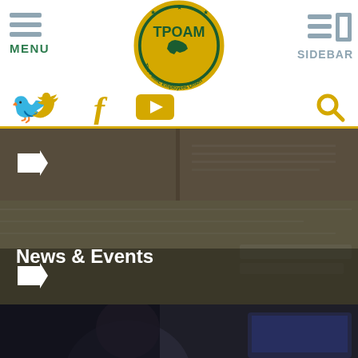[Figure (screenshot): TPOAM - The Public Employees Union logo, circular badge with yellow and green colors, Michigan map silhouette]
[Figure (infographic): Navigation header with MENU (hamburger left), SIDEBAR (right), social media icons (Twitter, Facebook, YouTube) in gold/yellow, search icon]
[Figure (photo): Open book with blurred pages, dark overlay, white right arrow navigation button]
News & Events
[Figure (photo): Blurred newspaper/document background with dark overlay, showing News & Events section label and white arrow button]
[Figure (photo): Partially visible photo of a person (woman) at a computer, bottom of page]